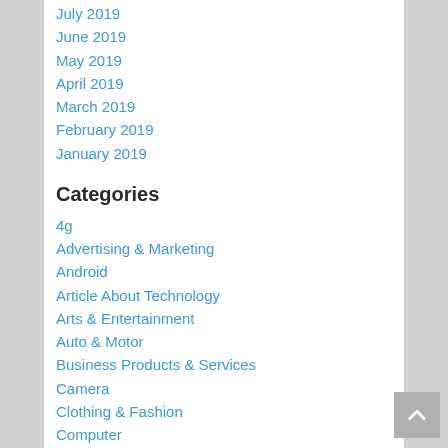July 2019
June 2019
May 2019
April 2019
March 2019
February 2019
January 2019
Categories
4g
Advertising & Marketing
Android
Article About Technology
Arts & Entertainment
Auto & Motor
Business Products & Services
Camera
Clothing & Fashion
Computer
Computer Gaming